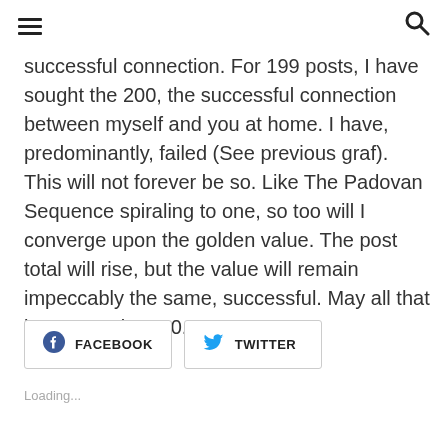☰ [menu icon] [search icon]
successful connection.  For 199 posts, I have sought the 200, the successful connection between myself and you at home.  I have, predominantly, failed (See previous graf).  This will not forever be so.  Like The Padovan Sequence spiraling to one, so too will I converge upon the golden value.  The post total will rise, but the value will remain impeccably the same, successful.  May all that is to come be 200.
FACEBOOK
TWITTER
Loading...